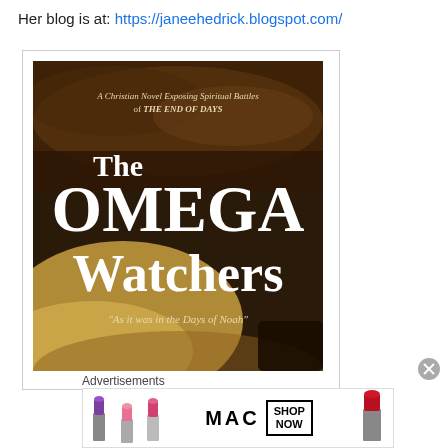Her blog is at: https://janeehedrick.blogspot.com/
[Figure (illustration): Book cover for 'The Omega Watchers' — a dark brown rocky background at top, large white serif text reading 'The OMEGA Watchers', subtitle text 'A Christian Novel Exposing Spiritual Battles of THE END OF DAYS', tagline '"As it was in the Days of Noah"', with sandy/golden lower portion. Shown inside a white framed box.]
Advertisements
[Figure (photo): MAC cosmetics advertisement showing colorful lipsticks on left, MAC logo in center, SHOP NOW box, and red lipstick on right.]